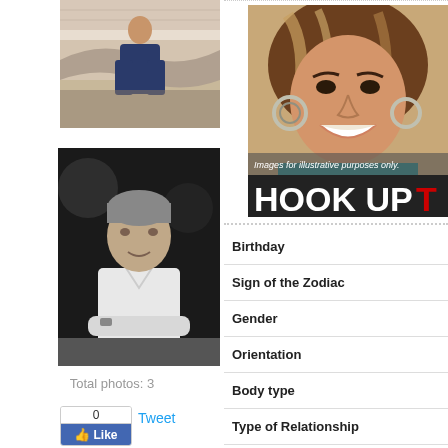[Figure (photo): Person photographed upside-down in a modern interior setting, color photo]
[Figure (photo): Black and white portrait photo of a man in a white shirt seated leaning forward]
Total photos: 3
[Figure (infographic): Like button with count 0 and Tweet button]
[Figure (photo): Smiling woman with highlighted hair wearing teal top, with overlay text 'Images for illustrative purposes only.' and banner 'HOOK UP T...']
| Field | Value |
| --- | --- |
| Birthday |  |
| Sign of the Zodiac |  |
| Gender |  |
| Orientation |  |
| Body type |  |
| Type of Relationship |  |